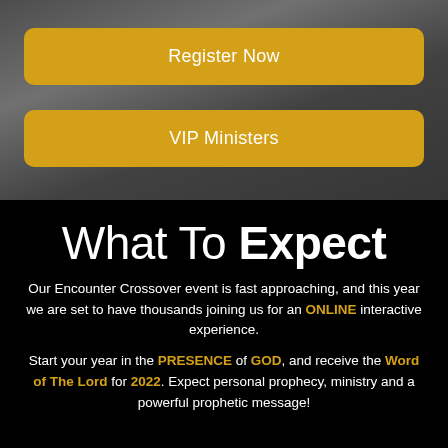[Figure (photo): Dark grayscale background photo of people, partially visible behind two yellow buttons]
Register Now
VIP Ministers
What To Expect
Our Encounter Crossover event is fast approaching, and this year we are set to have thousands joining us for an ONLINE interactive experience.
Start your year in the PRESENCE of GOD, and receive the Word of The Lord for 2022. Expect personal prophecy, ministry and a powerful prophetic message!